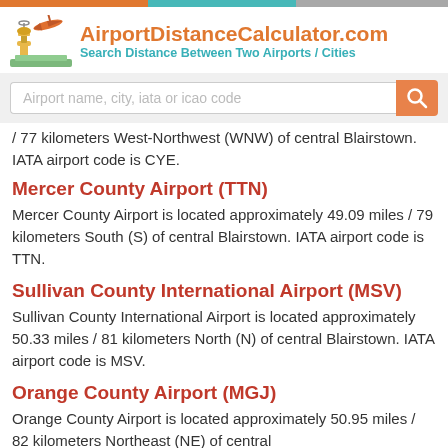AirportDistanceCalculator.com — Search Distance Between Two Airports / Cities
/ 77 kilometers West-Northwest (WNW) of central Blairstown. IATA airport code is CYE.
Mercer County Airport (TTN)
Mercer County Airport is located approximately 49.09 miles / 79 kilometers South (S) of central Blairstown. IATA airport code is TTN.
Sullivan County International Airport (MSV)
Sullivan County International Airport is located approximately 50.33 miles / 81 kilometers North (N) of central Blairstown. IATA airport code is MSV.
Orange County Airport (MGJ)
Orange County Airport is located approximately 50.95 miles / 82 kilometers Northeast (NE) of central